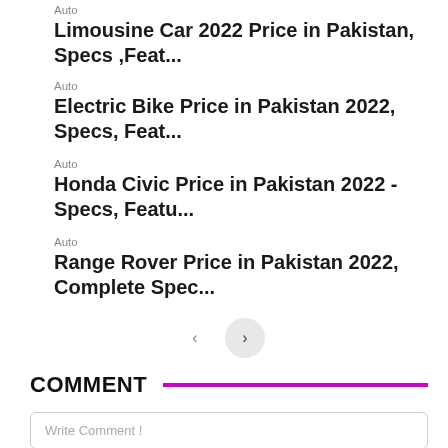Auto
Limousine Car 2022 Price in Pakistan, Specs ,Feat...
Auto
Electric Bike Price in Pakistan 2022, Specs, Feat...
Auto
Honda Civic Price in Pakistan 2022 - Specs, Featu...
Auto
Range Rover Price in Pakistan 2022, Complete Spec...
COMMENT
Write Comment !